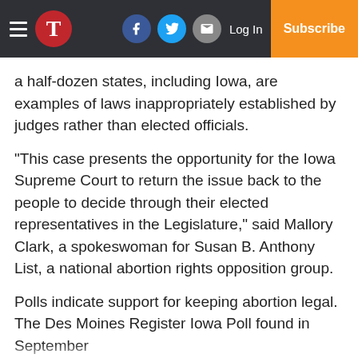T | [Facebook] [Twitter] [Email] Log In | Subscribe
a half-dozen states, including Iowa, are examples of laws inappropriately established by judges rather than elected officials.
“This case presents the opportunity for the Iowa Supreme Court to return the issue back to the people to decide through their elected representatives in the Legislature,” said Mallory Clark, a spokeswoman for Susan B. Anthony List, a national abortion rights opposition group.
Polls indicate support for keeping abortion legal. The Des Moines Register Iowa Poll found in September